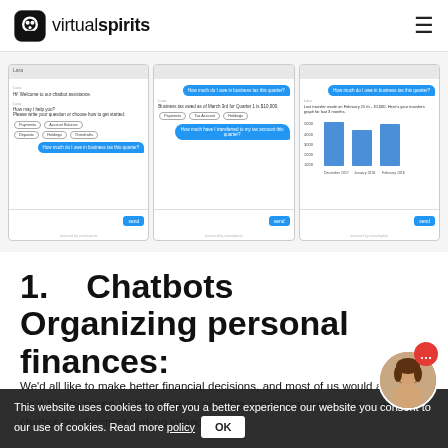virtualspirits
[Figure (screenshot): Three chatbot conversation screenshots showing a virtual assistant helping with financial questions including business tax and transfers graph with bar chart for December 2017, January 2018, February 2018]
1.   Chatbots   Organizing personal finances:
We'd all like to make better financial decisions, and most of us would agree that we'd like to spend as little time as possible pondering over our finances. Well, with chatbot development making inroads
This website uses cookies to offer you a better experience our website you consent to our use of cookies. Read more policy
OK